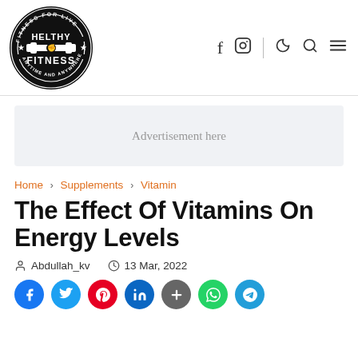[Figure (logo): Helthy Fitness circular logo — black and white, reads 'FITNESS FOR LIVE / HELTHY FITNESS / ANYTIME AND ANYWHERE' with a dumbbell icon in center]
f  [Instagram]  |  [moon]  [search]  [menu]
[Figure (infographic): Advertisement here banner — light grey rectangle placeholder]
Home > Supplements > Vitamin
The Effect Of Vitamins On Energy Levels
Abdullah_kv  13 Mar, 2022
[Figure (infographic): Social share buttons: Facebook (blue), Twitter (light blue), Pinterest (red), LinkedIn (dark blue), Google+ (grey), WhatsApp (green), Telegram (light blue)]